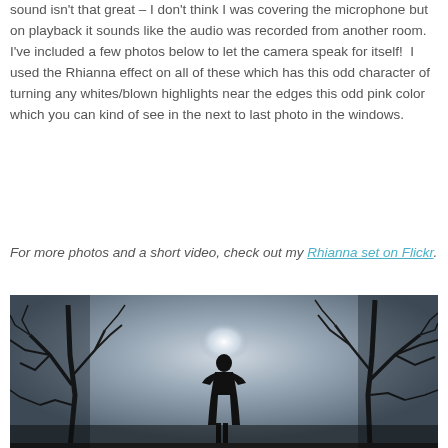sound isn't that great – I don't think I was covering the microphone but on playback it sounds like the audio was recorded from another room.  I've included a few photos below to let the camera speak for itself!  I used the Rhianna effect on all of these which has this odd character of turning any whites/blown highlights near the edges this odd pink color which you can kind of see in the next to last photo in the windows.
For more photos and a short video, check out my Rhianna set on Flickr.
[Figure (photo): Silhouette of a person standing among bare winter trees against a bright, overcast sky. The figure is centered with dark tree branches reaching across the image.]